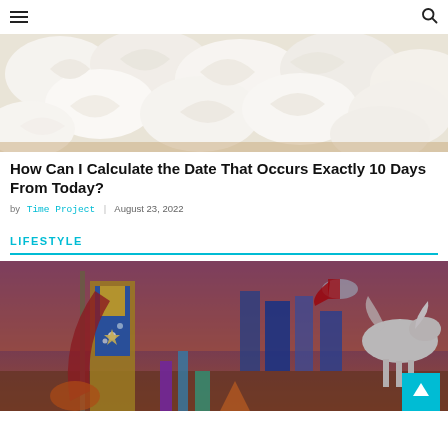☰ [menu] | 🔍 [search]
[Figure (photo): Close-up of white whipped cream swirls]
How Can I Calculate the Date That Occurs Exactly 10 Days From Today?
by Time Project | August 23, 2022
LIFESTYLE
[Figure (photo): Movie poster-style image with a warrior woman in blue and gold armor holding a weapon, with flying hero and white horse in background — colorful fantasy/action scene]